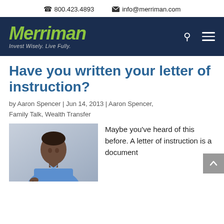800.423.4893  info@merriman.com
[Figure (logo): Merriman logo with tagline 'Invest Wisely. Live Fully.' on dark navy background with search and menu icons]
Have you written your letter of instruction?
by Aaron Spencer | Jun 14, 2013 | Aaron Spencer, Family Talk, Wealth Transfer
[Figure (photo): Photo of a man in a blue shirt writing with a pen, looking down at a document]
Maybe you've heard of this before. A letter of instruction is a document